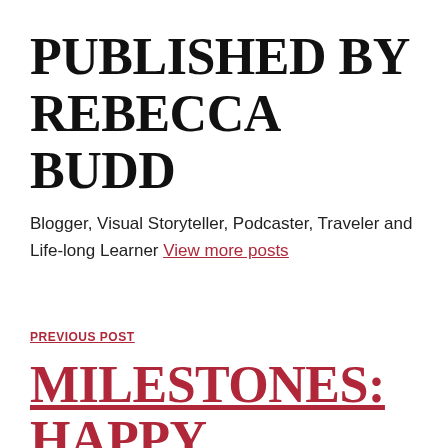PUBLISHED BY REBECCA BUDD
Blogger, Visual Storyteller, Podcaster, Traveler and Life-long Learner View more posts
PREVIOUS POST
MILESTONES: HAPPY BIRTHDAY ELIZABETH